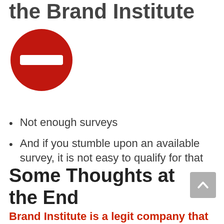the Brand Institute
[Figure (illustration): Red circle with a white horizontal minus/dash bar in the center, representing a 'con' or negative indicator icon.]
Not enough surveys
And if you stumble upon an available survey, it is not easy to qualify for that
Some Thoughts at the End
Brand Institute is a legit company that